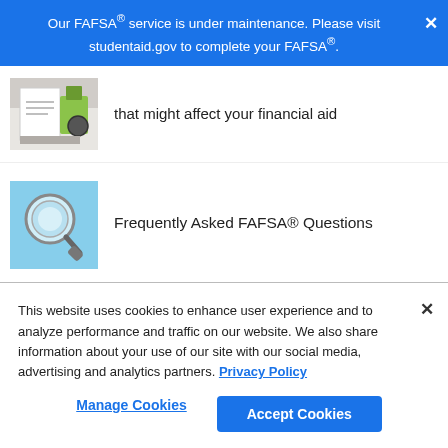Our FAFSA® service is under maintenance. Please visit studentaid.gov to complete your FAFSA®.
that might affect your financial aid
Frequently Asked FAFSA® Questions
This website uses cookies to enhance user experience and to analyze performance and traffic on our website. We also share information about your use of our site with our social media, advertising and analytics partners. Privacy Policy
Manage Cookies
Accept Cookies